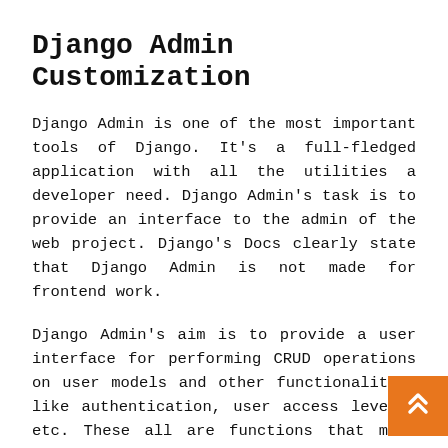Django Admin Customization
Django Admin is one of the most important tools of Django. It's a full-fledged application with all the utilities a developer need. Django Admin's task is to provide an interface to the admin of the web project. Django's Docs clearly state that Django Admin is not made for frontend work.
Django Admin's aim is to provide a user interface for performing CRUD operations on user models and other functionalities like authentication, user access levels, etc. These all are functions that make admin more productive.
Django Admin Customization
We will be customizing some parts of the Django Admin. This customization will provide us with a better representation of objects. To implement it in